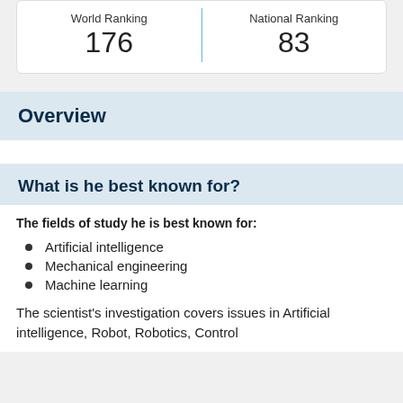| World Ranking | National Ranking |
| --- | --- |
| 176 | 83 |
Overview
What is he best known for?
The fields of study he is best known for:
Artificial intelligence
Mechanical engineering
Machine learning
The scientist's investigation covers issues in Artificial intelligence, Robot, Robotics, Control